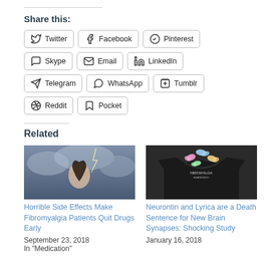Share this:
Twitter
Facebook
Pinterest
Skype
Email
LinkedIn
Telegram
WhatsApp
Tumblr
Reddit
Pocket
Related
[Figure (photo): Woman holding her head in pain against stormy sky background]
Horrible Side Effects Make Fibromyalgia Patients Quit Drugs Early
September 23, 2018
In "Medication"
[Figure (photo): Dark t-shirt with colorful butterfly design]
Neurontin and Lyrica are a Death Sentence for New Brain Synapses: Shocking Study
January 16, 2018